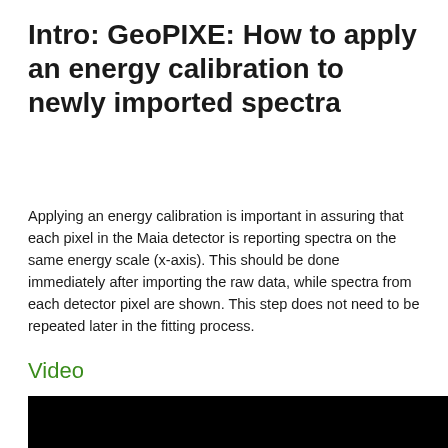Intro: GeoPIXE: How to apply an energy calibration to newly imported spectra
Applying an energy calibration is important in assuring that each pixel in the Maia detector is reporting spectra on the same energy scale (x-axis). This should be done immediately after importing the raw data, while spectra from each detector pixel are shown. This step does not need to be repeated later in the fitting process.
Video
[Figure (screenshot): Black video player area]